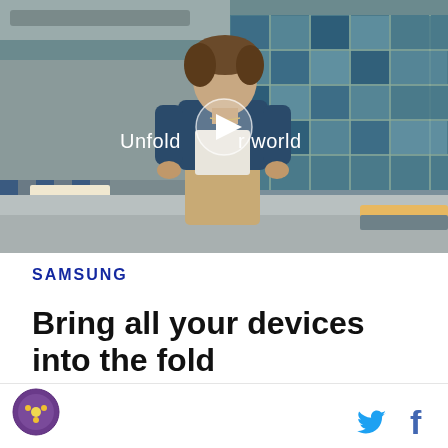[Figure (screenshot): Video thumbnail showing a young man in a denim jacket walking in what appears to be a school cafeteria. A white play button is overlaid in the center with text 'Unfold your world' in white.]
SAMSUNG
Bring all your devices into the fold
Social share icons: Twitter and Facebook